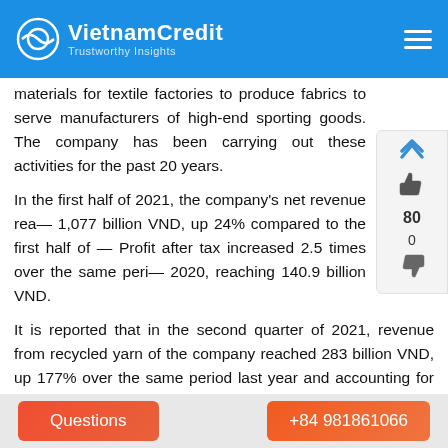VietnamCredit — Trustworthy Insights
materials for textile factories to produce fabrics to serve manufacturers of high-end sporting goods. The company has been carrying out these activities for the past 20 years.
In the first half of 2021, the company's net revenue reached 1,077 billion VND, up 24% compared to the first half of 2020. Profit after tax increased 2.5 times over the same period of 2020, reaching 140.9 billion VND.
It is reported that in the second quarter of 2021, revenue from recycled yarn of the company reached 283 billion VND, up 177% over the same period last year and accounting for 56% of the revenue structure.
The increase in the proportion of recycled yarn (with high profit
Questions   +84 981861066